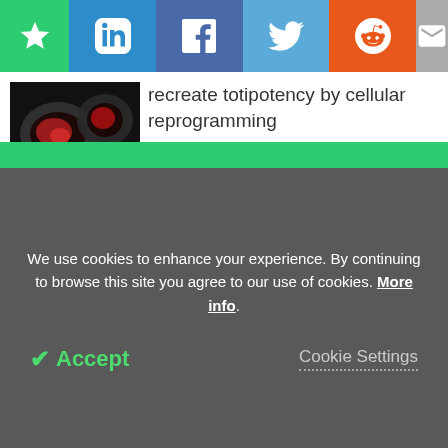[Figure (other): Social sharing toolbar with bookmark (green), LinkedIn (blue), Facebook (dark blue), Twitter (light blue), Reddit (orange), and email (grey) buttons]
[Figure (photo): Fluorescence microscopy image of cells with red and grey staining, likely showing nuclei]
recreate totipotency by cellular reprogramming
Researchers analyze how RNA molecules control the repair of damaged DNA in cancer cells
We use cookies to enhance your experience. By continuing to browse this site you agree to our use of cookies. More info.
Accept
Cookie Settings